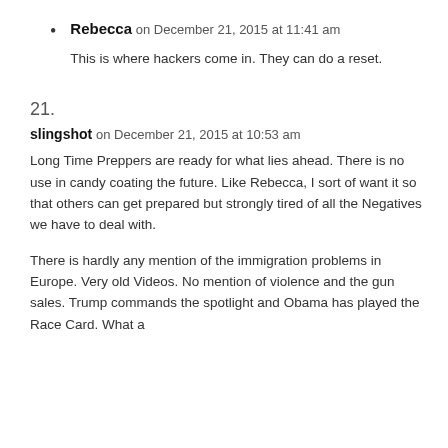Rebecca on December 21, 2015 at 11:41 am
This is where hackers come in. They can do a reset.
21.
slingshot on December 21, 2015 at 10:53 am
Long Time Preppers are ready for what lies ahead. There is no use in candy coating the future. Like Rebecca, I sort of want it so that others can get prepared but strongly tired of all the Negatives we have to deal with.
There is hardly any mention of the immigration problems in Europe. Very old Videos. No mention of violence and the gun sales. Trump commands the spotlight and Obama has played the Race Card. What a